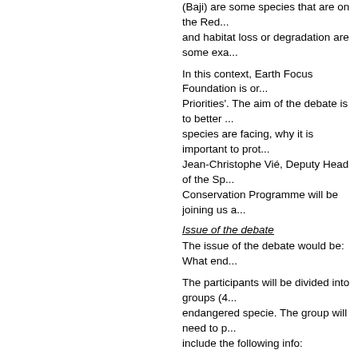(Baji) are some species that are on the Red... and habitat loss or degradation are some exa...
In this context, Earth Focus Foundation is or... Priorities'. The aim of the debate is to better ... species are facing, why it is important to prot... Jean-Christophe Vié, Deputy Head of the Sp... Conservation Programme will be joining us a...
Issue of the debate
The issue of the debate would be: What end...
The participants will be divided into groups (4... endangered specie. The group will need to p... include the following info:
Title of debate / Name of school grou...
Name of endangered specie that the... images)
3 threats that the specie faces
How to protect the endangered speci...
Why protecting the specie should be...
Conclusions
* There will also be a prize (CHF 30 gift certi... the best Power Point Presentation
* Each group will be required to present their... assigned specie's protection should be a prio... the other participants and from the assistanc...
At the end of the debate, there will be a vote...
Date and Inscription
Debate: April 17th / April 2009 at th...